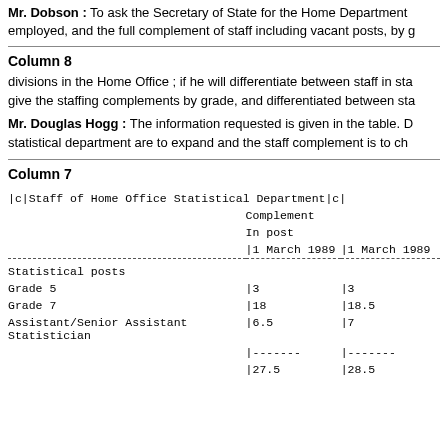Mr. Dobson : To ask the Secretary of State for the Home Department employed, and the full complement of staff including vacant posts, by g
Column 8
divisions in the Home Office ; if he will differentiate between staff in sta give the staffing complements by grade, and differentiated between sta
Mr. Douglas Hogg : The information requested is given in the table. D statistical department are to expand and the staff complement is to ch
Column 7
|  | Complement | In post | |1 March 1989 | |1 March 1989 |
| --- | --- | --- | --- | --- |
| Statistical posts |  |  |  |  |
| Grade 5 |  |  | |3 | |3 |
| Grade 7 |  |  | |18 | |18.5 |
| Assistant/Senior Assistant Statistician |  |  | |6.5 | |7 |
|  |  |  | |------- | |------- |
|  |  |  | |27.5 | |28.5 |